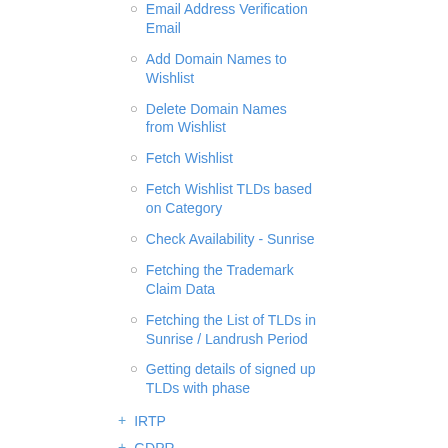Email Address Verification Email
Add Domain Names to Wishlist
Delete Domain Names from Wishlist
Fetch Wishlist
Fetch Wishlist TLDs based on Category
Check Availability - Sunrise
Fetching the Trademark Claim Data
Fetching the List of TLDs in Sunrise / Landrush Period
Getting details of signed up TLDs with phase
IRTP
GDPR
Contacts
Customers
Sub Reseller